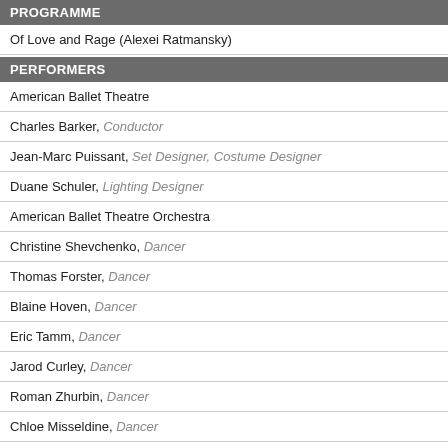PROGRAMME
Of Love and Rage (Alexei Ratmansky)
PERFORMERS
American Ballet Theatre
Charles Barker, Conductor
Jean-Marc Puissant, Set Designer, Costume Designer
Duane Schuler, Lighting Designer
American Ballet Theatre Orchestra
Christine Shevchenko, Dancer
Thomas Forster, Dancer
Blaine Hoven, Dancer
Eric Tamm, Dancer
Jarod Curley, Dancer
Roman Zhurbin, Dancer
Chloe Misseldine, Dancer
Zimmi Coker, Dancer